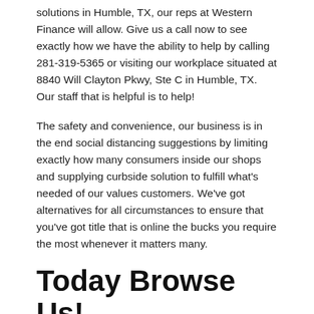solutions in Humble, TX, our reps at Western Finance will allow. Give us a call now to see exactly how we have the ability to help by calling 281-319-5365 or visiting our workplace situated at 8840 Will Clayton Pkwy, Ste C in Humble, TX. Our staff that is helpful is to help!
The safety and convenience, our business is in the end social distancing suggestions by limiting exactly how many consumers inside our shops and supplying curbside solution to fulfill what's needed of our values customers. We've got alternatives for all circumstances to ensure that you've got title that is online the bucks you require the most whenever it matters many.
Today Browse Us!
When it comes to protection and convenience, we're in the end distancing that's social by restricting the sheer amount of customers in your stores and providing curbside solution to meet what's needed of our values consumers. We've alternatives for all circumstances to be sure there clearly was the money you require the most whenever it matters numerous.
Conant the department